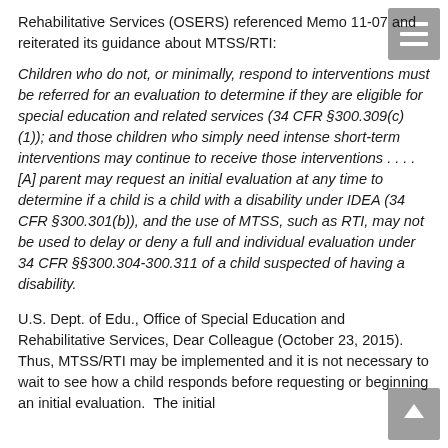Rehabilitative Services (OSERS) referenced Memo 11-07 and reiterated its guidance about MTSS/RTI:
Children who do not, or minimally, respond to interventions must be referred for an evaluation to determine if they are eligible for special education and related services (34 CFR §300.309(c)(1)); and those children who simply need intense short-term interventions may continue to receive those interventions . . . . [A] parent may request an initial evaluation at any time to determine if a child is a child with a disability under IDEA (34 CFR §300.301(b)), and the use of MTSS, such as RTI, may not be used to delay or deny a full and individual evaluation under 34 CFR §§300.304-300.311 of a child suspected of having a disability.
U.S. Dept. of Edu., Office of Special Education and Rehabilitative Services, Dear Colleague (October 23, 2015). Thus, MTSS/RTI may be implemented and it is not necessary to wait to see how a child responds before requesting or beginning an initial evaluation.  The initial